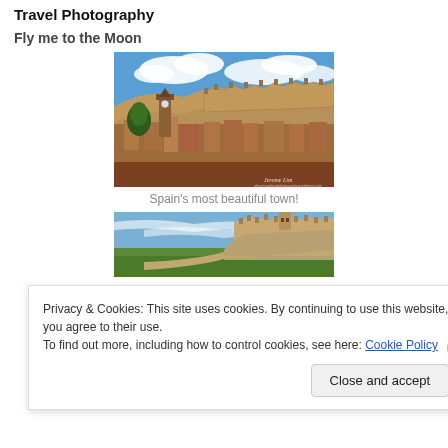Travel Photography
Fly me to the Moon
[Figure (photo): Aerial view of a Spanish medieval town with a church tower and hilltop fortification walls under a blue sky with clouds. Watermark: JEROME LIM]
Spain's most beautiful town!
[Figure (photo): A castle on a hilltop with green fields in the foreground under a blue sky with wispy clouds.]
Privacy & Cookies: This site uses cookies. By continuing to use this website, you agree to their use.
To find out more, including how to control cookies, see here: Cookie Policy